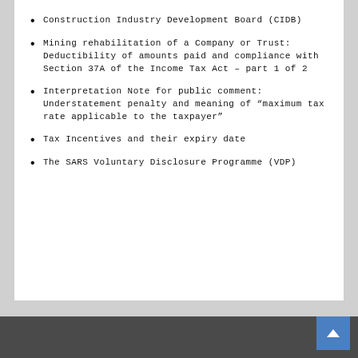Construction Industry Development Board (CIDB)
Mining rehabilitation of a Company or Trust: Deductibility of amounts paid and compliance with Section 37A of the Income Tax Act – part 1 of 2
Interpretation Note for public comment: Understatement penalty and meaning of "maximum tax rate applicable to the taxpayer"
Tax Incentives and their expiry date
The SARS Voluntary Disclosure Programme (VDP)